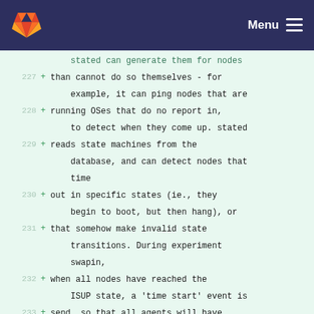GitLab — Menu
stated can generate them for nodes
227 + than cannot do so themselves - for
    example, it can ping nodes that are
228 + running OSes that do no report in,
    to detect when they come up. stated
229 + reads state machines from the
    database, and can detect nodes that
    time
230 + out in specific states (ie., they
    begin to boot, but then hang), or
231 + that somehow make invalid state
    transitions. During experiment
    swapin,
232 + when all nodes have reached the
    ISUP state, a 'time start' event is
233 + send, so that all agents will have
    a similar idea of when the
234 + experiment began.
235 +
236 + On the nodes, the main things that